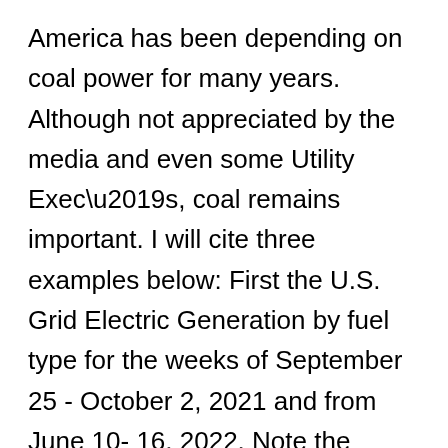America has been depending on coal power for many years. Although not appreciated by the media and even some Utility Exec’s, coal remains important. I will cite three examples below: First the U.S. Grid Electric Generation by fuel type for the weeks of September 25 - October 2, 2021 and from June 10- 16, 2022. Note the Dispatchable power of over 80% in both cases, with coal providing a significant portion of the generation. Also shown below are screen shots of actual generation by fuel for both the MISO and PJM RTO’s (Regional Transmission Operators).